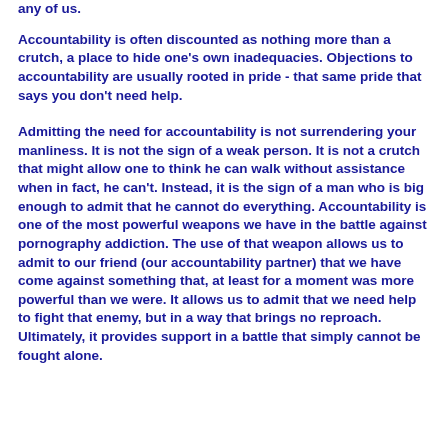any of us.
Accountability is often discounted as nothing more than a crutch, a place to hide one's own inadequacies. Objections to accountability are usually rooted in pride - that same pride that says you don't need help.
Admitting the need for accountability is not surrendering your manliness. It is not the sign of a weak person. It is not a crutch that might allow one to think he can walk without assistance when in fact, he can't. Instead, it is the sign of a man who is big enough to admit that he cannot do everything. Accountability is one of the most powerful weapons we have in the battle against pornography addiction. The use of that weapon allows us to admit to our friend (our accountability partner) that we have come against something that, at least for a moment was more powerful than we were. It allows us to admit that we need help to fight that enemy, but in a way that brings no reproach. Ultimately, it provides support in a battle that simply cannot be fought alone.